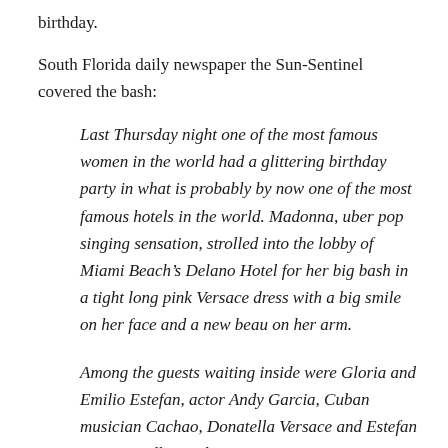birthday.
South Florida daily newspaper the Sun-Sentinel covered the bash:
Last Thursday night one of the most famous women in the world had a glittering birthday party in what is probably by now one of the most famous hotels in the world. Madonna, uber pop singing sensation, strolled into the lobby of Miami Beach’s Delano Hotel for her big bash in a tight long pink Versace dress with a big smile on her face and a new beau on her arm.
Among the guests waiting inside were Gloria and Emilio Estefan, actor Andy Garcia, Cuban musician Cachao, Donatella Versace and Estefan protegee Albita, who sang a rousing Latino version of Happy Birthday. Ms Ciccone uncharacteristically stopped and chatted with the press, who had all been alerted about the private party, causing crowds to close down the surrounding streets.